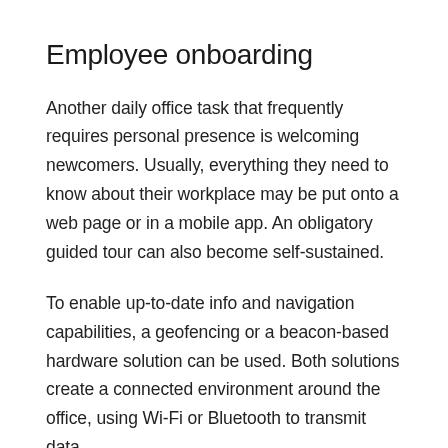Employee onboarding
Another daily office task that frequently requires personal presence is welcoming newcomers. Usually, everything they need to know about their workplace may be put onto a web page or in a mobile app. An obligatory guided tour can also become self-sustained.
To enable up-to-date info and navigation capabilities, a geofencing or a beacon-based hardware solution can be used. Both solutions create a connected environment around the office, using Wi-Fi or Bluetooth to transmit data.